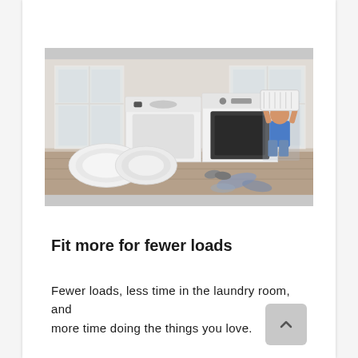[Figure (photo): A laundry room scene featuring two white top-load style washer and dryer appliances side by side. In the foreground are two rolled white comforters/duvets on the floor. A young girl wearing a blue top and denim shorts stands to the right, smiling and holding a laundry basket above her head. Scattered clothes and shoes are on the wooden floor. Two windows with white frames are visible in the background.]
Fit more for fewer loads
Fewer loads, less time in the laundry room, and more time doing the things you love.